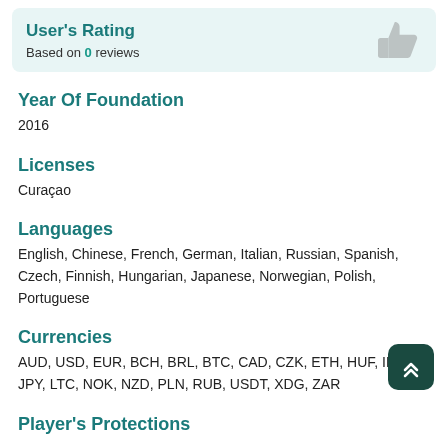User's Rating
Based on 0 reviews
Year Of Foundation
2016
Licenses
Curaçao
Languages
English, Chinese, French, German, Italian, Russian, Spanish, Czech, Finnish, Hungarian, Japanese, Norwegian, Polish, Portuguese
Currencies
AUD, USD, EUR, BCH, BRL, BTC, CAD, CZK, ETH, HUF, INR, JPY, LTC, NOK, NZD, PLN, RUB, USDT, XDG, ZAR
Player's Protections